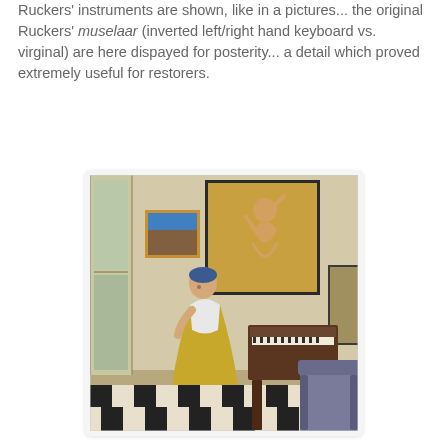Ruckers' instruments are shown, like in a pictures... the original Ruckers' muselaar (inverted left/right hand keyboard vs. virginal) are here dispayed for posterity... a detail which proved extremely useful for restorers.
[Figure (illustration): A Vermeer-style painting of a woman in a blue hat and golden dress standing near a harpsichord/virginal in a Dutch interior room, with paintings on the wall including a cherub figure and a landscape, and a chair in the foreground; black and white checkered floor visible.]